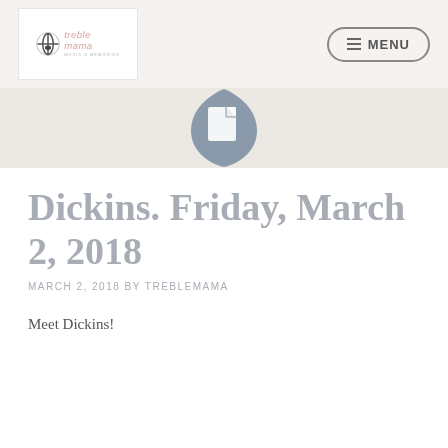[Figure (logo): Treble Mama logo with musical note icon and pink cursive text, inside a white box on a light beige header bar]
[Figure (other): Hamburger menu icon with MENU text inside a rounded rectangle button]
[Figure (other): Document/page icon (white file icon on grey teardrop/shield shape) centered in a light beige band]
Dickins. Friday, March 2, 2018
MARCH 2, 2018 BY TREBLEMAMA
Meet Dickins!